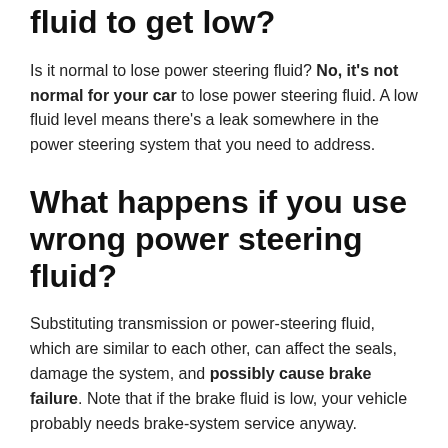Is it normal for power steering fluid to get low?
Is it normal to lose power steering fluid? No, it's not normal for your car to lose power steering fluid. A low fluid level means there's a leak somewhere in the power steering system that you need to address.
What happens if you use wrong power steering fluid?
Substituting transmission or power-steering fluid, which are similar to each other, can affect the seals, damage the system, and possibly cause brake failure. Note that if the brake fluid is low, your vehicle probably needs brake-system service anyway.
How often should you change